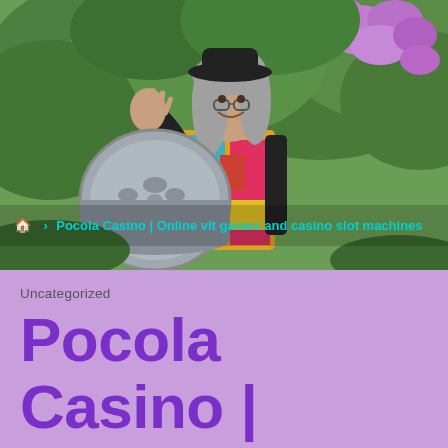[Figure (photo): Woman with long gray hair wearing a black hat and colorful vest/cardigan, smiling and holding a large steel handpan drum outdoors surrounded by green foliage and purple flowering rhododendron bushes.]
🏠 › Pocola Casino | Online vlt games and casino slot machines
Uncategorized
Pocola Casino | Online vlt